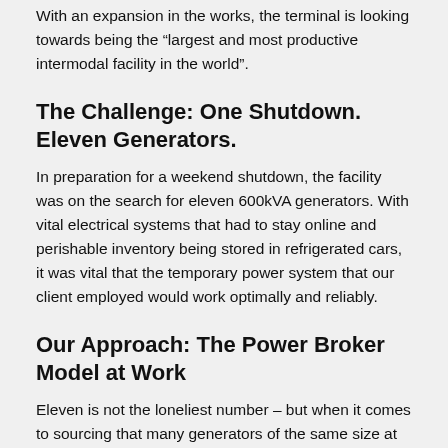With an expansion in the works, the terminal is looking towards being the “largest and most productive intermodal facility in the world”.
The Challenge: One Shutdown. Eleven Generators.
In preparation for a weekend shutdown, the facility was on the search for eleven 600kVA generators. With vital electrical systems that had to stay online and perishable inventory being stored in refrigerated cars, it was vital that the temporary power system that our client employed would work optimally and reliably.
Our Approach: The Power Broker Model at Work
Eleven is not the loneliest number – but when it comes to sourcing that many generators of the same size at the same time, it can be a challenging one.
But thanks to our power broker model, the Trinity team was